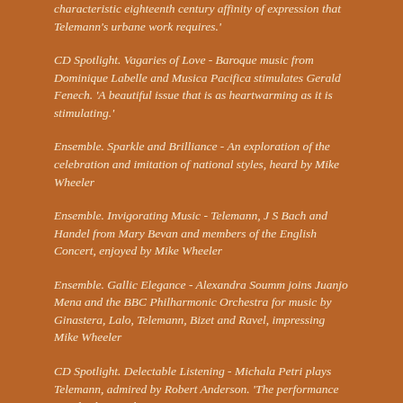characteristic eighteenth century affinity of expression that Telemann's urbane work requires.'
CD Spotlight. Vagaries of Love - Baroque music from Dominique Labelle and Musica Pacifica stimulates Gerald Fenech. 'A beautiful issue that is as heartwarming as it is stimulating.'
Ensemble. Sparkle and Brilliance - An exploration of the celebration and imitation of national styles, heard by Mike Wheeler
Ensemble. Invigorating Music - Telemann, J S Bach and Handel from Mary Bevan and members of the English Concert, enjoyed by Mike Wheeler
Ensemble. Gallic Elegance - Alexandra Soumm joins Juanjo Mena and the BBC Philharmonic Orchestra for music by Ginastera, Lalo, Telemann, Bizet and Ravel, impressing Mike Wheeler
CD Spotlight. Delectable Listening - Michala Petri plays Telemann, admired by Robert Anderson. 'The performance is indeed triumphant.'
Ensemble. Enterprisingly Apt - A wide-ranging recital by Janey Miller and Susie Summers, heard by Mike Wheeler
CD Spotlight. Seldom Bridged - Tom Collier plays vibraphone and marimba, highly recommended by Howard Smith. '...